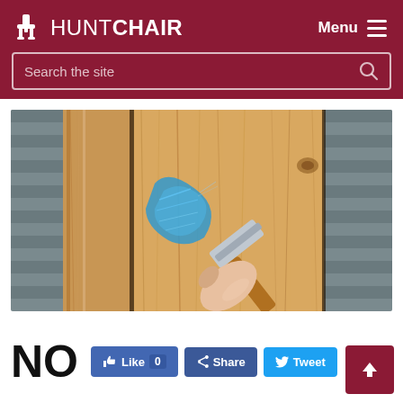HUNTCHAIR — Menu navigation and search bar
[Figure (photo): Close-up photo of a hand holding a blue paint brush applying paint or stain to a wooden plank surface with visible wood grain. Background shows grey siding.]
NO
Like 0 | Share | Tweet